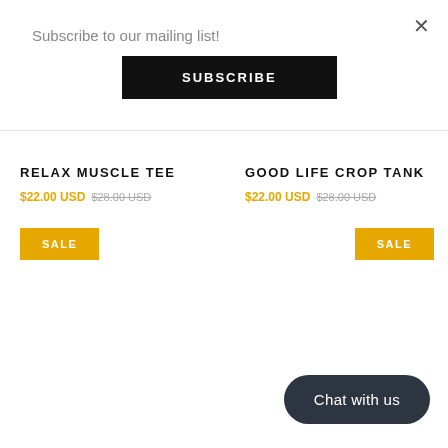Subscribe to our mailing list!
SUBSCRIBE
×
RELAX MUSCLE TEE
$22.00 USD $28.00 USD
SALE
GOOD LIFE CROP TANK
$22.00 USD $28.00 USD
SALE
Chat with us